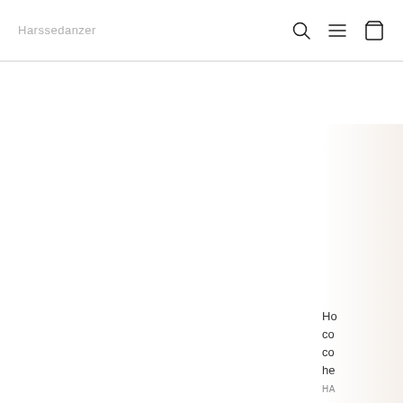Harssedanzer [search icon] [menu icon] [cart icon]
[Figure (illustration): Large white/blank content area below header, with a warm beige gradient on the right edge]
Ho
co
co
he
HA